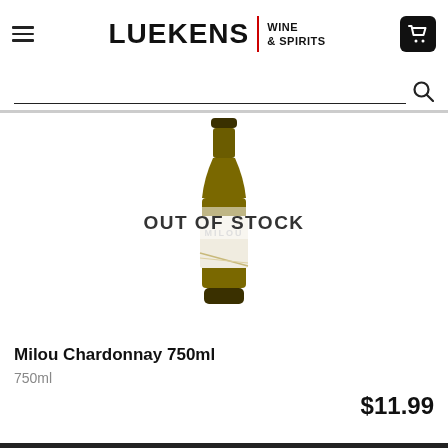LUEKENS WINE & SPIRITS
[Figure (photo): A wine bottle (Milou Chardonnay) with a white label showing geometric design, displayed with an 'OUT OF STOCK' overlay text]
Milou Chardonnay 750ml
750ml
$11.99